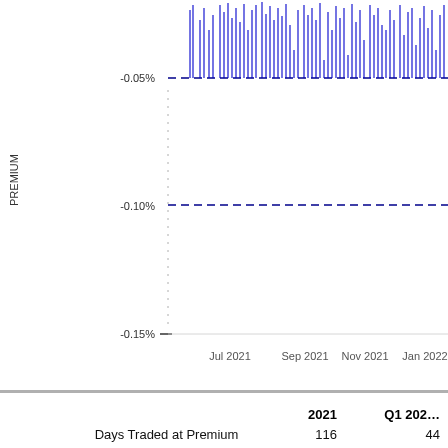[Figure (continuous-plot): Time series line chart showing premium/discount percentage from Jul 2021 to Jan 2022. Y-axis shows values from -0.15% to near 0%, with dashed reference lines at -0.05% and -0.10%. Blue vertical spikes indicate daily premium/discount values mostly above -0.05%.]
|  | 2021 | Q1 202... |
| --- | --- | --- |
| Days Traded at Premium | 116 | 44 |
| Days Traded at Discount | 24 | 18 |
Top Industry Exposure (as...
Semiconductors & Semiconductor Equipment  34.8...
Software  23.3...
IT Services  18.9...
Electronic Equipment, Instruments & Components  6.2...
Technology Hardware, Storage & Peripherals  5.5...
Interactive Media & Services  4.8...
Wireless Telecommunication Services  3.5...